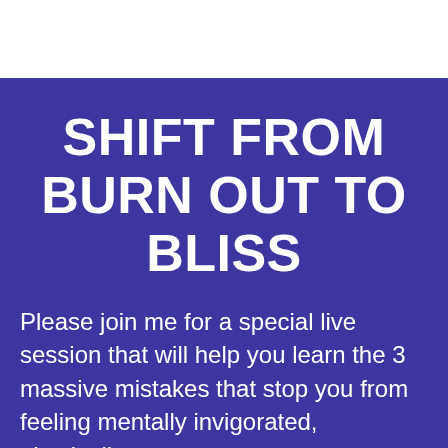SHIFT FROM BURN OUT TO BLISS
Please join me for a special live session that will help you learn the 3 massive mistakes that stop you from feeling mentally invigorated, physically